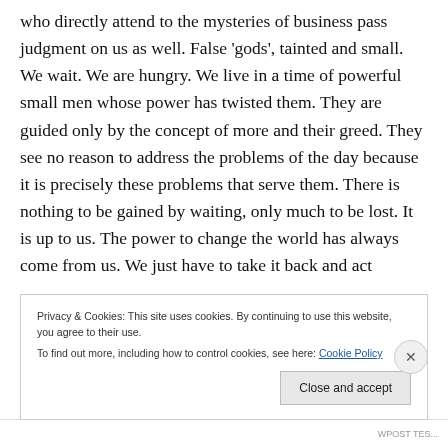who directly attend to the mysteries of business pass judgment on us as well. False ‘gods’, tainted and small. We wait. We are hungry. We live in a time of powerful small men whose power has twisted them. They are guided only by the concept of more and their greed. They see no reason to address the problems of the day because it is precisely these problems that serve them. There is nothing to be gained by waiting, only much to be lost. It is up to us. The power to change the world has always come from us. We just have to take it back and act
Privacy & Cookies: This site uses cookies. By continuing to use this website, you agree to their use. To find out more, including how to control cookies, see here: Cookie Policy
Close and accept
WPOST TES...